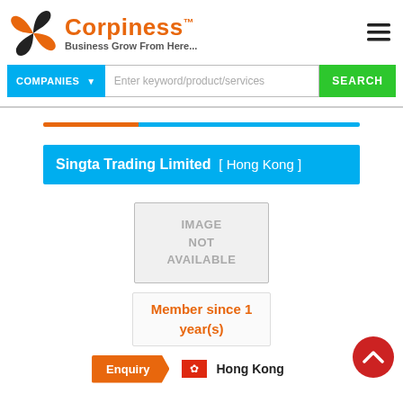[Figure (logo): Corpiness pinwheel logo with orange and black blades]
Corpiness™ — Business Grow From Here...
COMPANIES ▼  [Search input]  SEARCH
Singta Trading Limited  [ Hong Kong ]
[Figure (photo): IMAGE NOT AVAILABLE placeholder box]
Member since 1 year(s)
Enquiry  🍁 Hong Kong